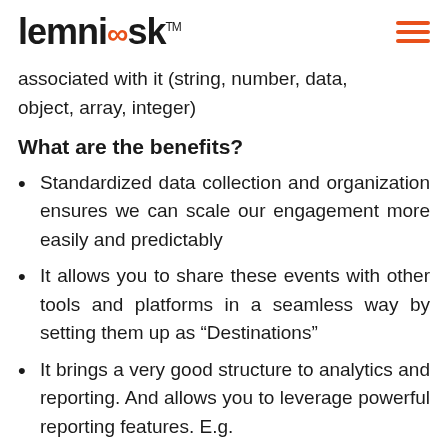lemnisk
associated with it (string, number, data, object, array, integer)
What are the benefits?
Standardized data collection and organization ensures we can scale our engagement more easily and predictably
It allows you to share these events with other tools and platforms in a seamless way by setting them up as “Destinations”
It brings a very good structure to analytics and reporting. And allows you to leverage powerful reporting features. E.g.